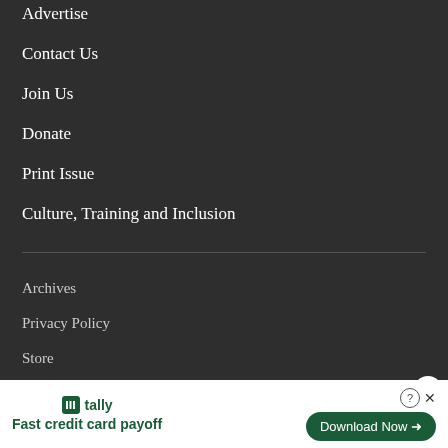Advertise
Contact Us
Join Us
Donate
Print Issue
Culture, Training and Inclusion
Archives
Privacy Policy
Store
© 2022 One hundred and thirty-one years of editorial freedom.
[Figure (infographic): Tally app advertisement banner with text 'Fast credit card payoff' and a green Download Now button]